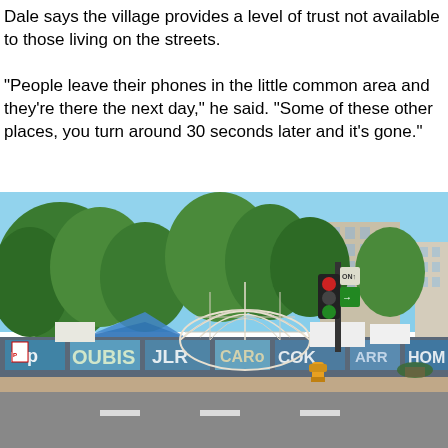Dale says the village provides a level of trust not available to those living on the streets.

"People leave their phones in the little common area and they're there the next day," he said. "Some of these other places, you turn around 30 seconds later and it's gone."
[Figure (photo): Street-level photograph of an urban intersection showing a fenced encampment with a geodesic dome structure and blue tarp, surrounded by trees, graffiti-covered walls, a traffic light pole, and city buildings in the background under a clear blue sky.]